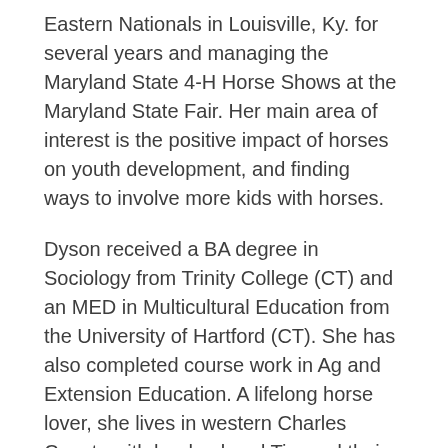Eastern Nationals in Louisville, Ky. for several years and managing the Maryland State 4-H Horse Shows at the Maryland State Fair. Her main area of interest is the positive impact of horses on youth development, and finding ways to involve more kids with horses.
Dyson received a BA degree in Sociology from Trinity College (CT) and an MED in Multicultural Education from the University of Hartford (CT). She has also completed course work in Ag and Extension Education. A lifelong horse lover, she lives in western Charles County with her husband Tim and their 9 horses. She has 4 children, all of whom have ridden throughout their lives, primarily in the hunter-jumper